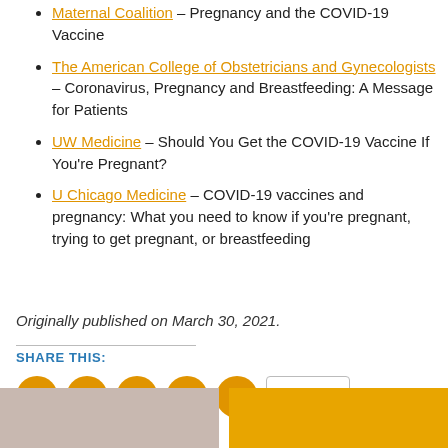Maternal Coalition – Pregnancy and the COVID-19 Vaccine
The American College of Obstetricians and Gynecologists – Coronavirus, Pregnancy and Breastfeeding: A Message for Patients
UW Medicine – Should You Get the COVID-19 Vaccine If You're Pregnant?
U Chicago Medicine – COVID-19 vaccines and pregnancy: What you need to know if you're pregnant, trying to get pregnant, or breastfeeding
Originally published on March 30, 2021.
SHARE THIS:
[Figure (infographic): Social sharing buttons: email, print, Facebook, Twitter, LinkedIn, and a More button]